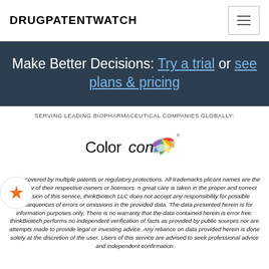DRUGPATENTWATCH
Make Better Decisions: Try a trial or see plans & pricing
SERVING LEADING BIOPHARMACEUTICAL COMPANIES GLOBALLY:
[Figure (logo): Colorcon company logo with colorful fan/palette graphic]
may be covered by multiple patents or regulatory protections. All trademarks applicant names are the property of their respective owners or licensors. n great care is taken in the proper and correct provision of this service, thinkBiotech LLC does not accept any responsibility for possible consequences of errors or omissions in the provided data. The data presented herein is for information purposes only. There is no warranty that the data contained herein is error free. thinkBiotech performs no independent verification of facts as provided by public sources nor are attempts made to provide legal or investing advice. Any reliance on data provided herein is done solely at the discretion of the user. Users of this service are advised to seek professional advice and independent confirmation